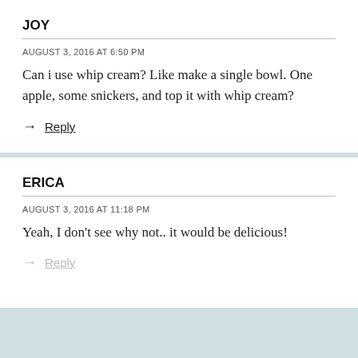JOY
AUGUST 3, 2016 AT 6:50 PM
Can i use whip cream? Like make a single bowl. One apple, some snickers, and top it with whip cream?
→ Reply
ERICA
AUGUST 3, 2016 AT 11:18 PM
Yeah, I don't see why not.. it would be delicious!
→ Reply